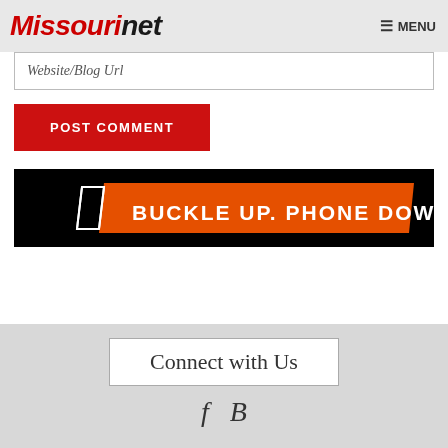Missourinet  MENU
Website/Blog Url
POST COMMENT
[Figure (infographic): Black banner advertisement with orange diagonal stripe and white bold text reading BUCKLE UP. PHONE DOWN.]
Connect with Us